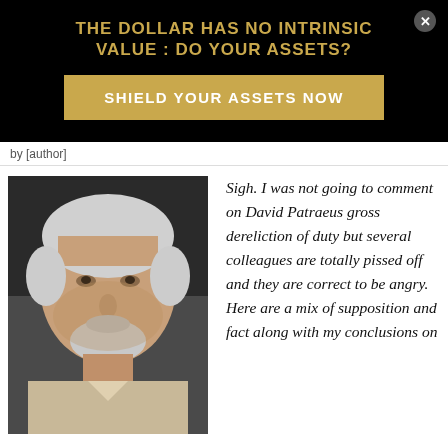THE DOLLAR HAS NO INTRINSIC VALUE : DO YOUR ASSETS?
SHIELD YOUR ASSETS NOW
by [author]
[Figure (photo): Portrait photo of an older man with white/grey hair and a grey beard, wearing a light-colored shirt, photographed against a dark background.]
Sigh. I was not going to comment on David Patraeus gross dereliction of duty but several colleagues are totally pissed off and they are correct to be angry. Here are a mix of supposition and fact along with my conclusions on